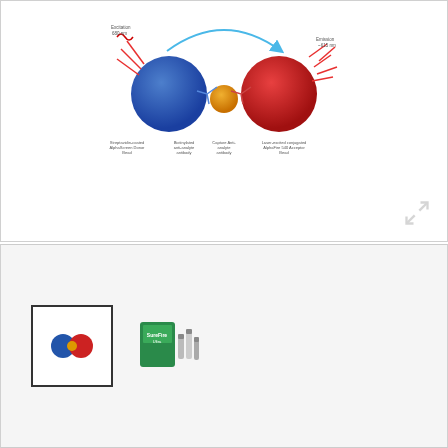[Figure (schematic): AlphaLISA technology diagram showing Streptavidin-coated AlphaScreen Donor Bead on left (blue), Biotinylated anti-analyte antibody, Protein/analyte in center (orange), Capture antibody anti-analyte, and Acceptor Bead on right (red) with emission ray, connected by a curved arrow indicating energy transfer.]
[Figure (photo): Thumbnail image showing a miniature version of the AlphaLISA technology diagram (selected, with border).]
[Figure (photo): Thumbnail photograph of the AlphaLISA SureFire Ultra kit product box and reagents in green packaging.]
The AlphaLISA® SureFire® Ultra™ Human Total BRD4 assay is a sandwich immunoassay for quantitative detection of total BRD4 in cellular lysates using Alpha Technology.